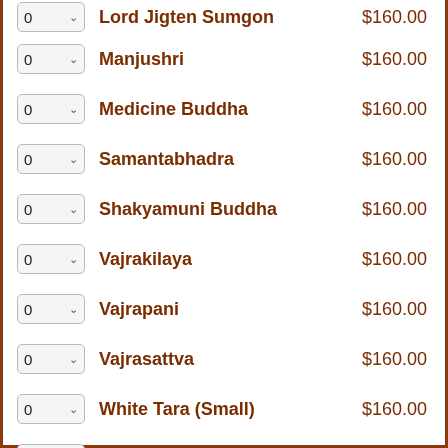Lord Jigten Sumgon – $160.00
Manjushri – $160.00
Medicine Buddha – $160.00
Samantabhadra – $160.00
Shakyamuni Buddha – $160.00
Vajrakilaya – $160.00
Vajrapani – $160.00
Vajrasattva – $160.00
White Tara (Small) – $160.00
White Tara (Large) – $160.00
Yamantaka – $160.00